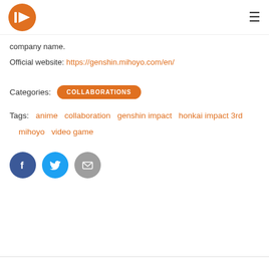company name.
Official website: https://genshin.mihoyo.com/en/
Categories: COLLABORATIONS
Tags: anime  collaboration  genshin impact  honkai impact 3rd  mihoyo  video game
[Figure (infographic): Social share buttons: Facebook (dark blue circle with f), Twitter (light blue circle with bird), Email (gray circle with envelope)]